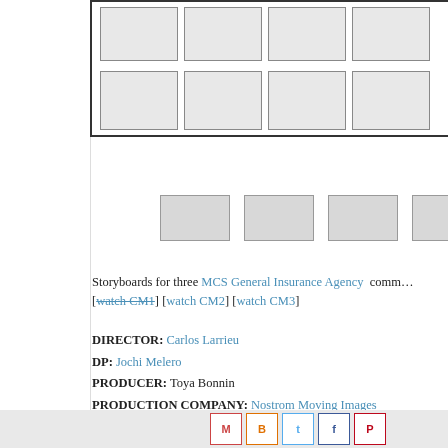[Figure (illustration): Storyboard grid with two rows of thumbnail sketches inside a bordered box, plus a loose row of thumbnails below]
Storyboards for three MCS General Insurance Agency commercials. [watch CM1] [watch CM2] [watch CM3]
DIRECTOR: Carlos Larrieu
DP: Jochi Melero
PRODUCER: Toya Bonnin
PRODUCTION COMPANY: Nostrom Moving Images
AGENCY: Lopito, Ileana & Howie
Carlos Larrieu  Jochi Melero  Lopito Ileana & Howie
[Figure (other): Social sharing icons: Gmail, Blogger, Twitter, Facebook, Pinterest]